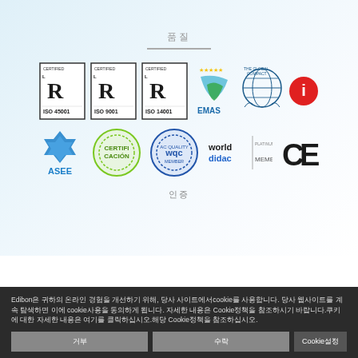품질
[Figure (logo): Row of certification logos: LR Certified ISO 45001, LR Certified ISO 9001, LR Certified ISO 14001, EMAS, The Global Compact, info button (red), ASEE, certification round badge, WQC round badge, worlddidac Member Platinum, CE mark]
인증
Edibon은 귀하의 온라인 경험을 개선하기 위해 cookie를 사용합니다. 당사 웹사이트를 계속 탐색하면 cookie사용에 동의하게 됩니다. 자세한 내용은 Cookie정책을 참조하십시오.쿠키에 대한 자세한 내용은 여기를 클릭하십시오. 해당 Cookie정책을 참조하십시오.